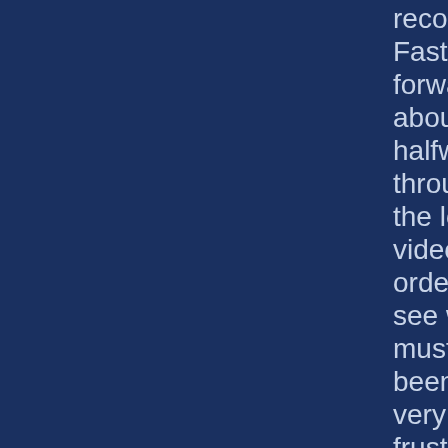recorded. Fast forward to about halfway through the longer video in order to see what must have been a very frustrating game of Capture the Flag. Every time the videomaker\'s team, which is red, captures the flag